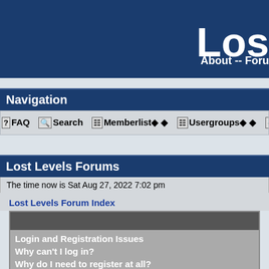Los
About -- Foru
Navigation
FAQ  Search  Memberlist◆ ◆  Usergroups◆ ◆ ✓
Lost Levels Forums
The time now is Sat Aug 27, 2022 7:02 pm
Lost Levels Forum Index
Login and Registration Issues
Why can't I log in?
Why do I need to register at all?
Why do I get logged off automatically?
How do I prevent my username from appearing in the o
I've lost my password!
I registered but cannot log in!